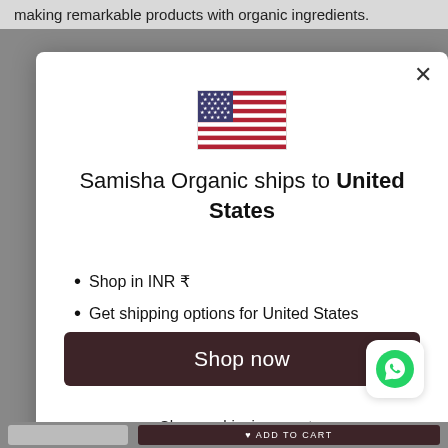making remarkable products with organic ingredients.
[Figure (illustration): A modal dialog popup showing a US flag emoji/image at the top, with text about Samisha Organic shipping to United States, bullet points for shop in INR and get shipping options, a dark Shop now button, and a Change shipping country link. A WhatsApp chat button appears in the bottom right corner.]
Samisha Organic ships to United States
Shop in INR ₹
Get shipping options for United States
Shop now
Change shipping country